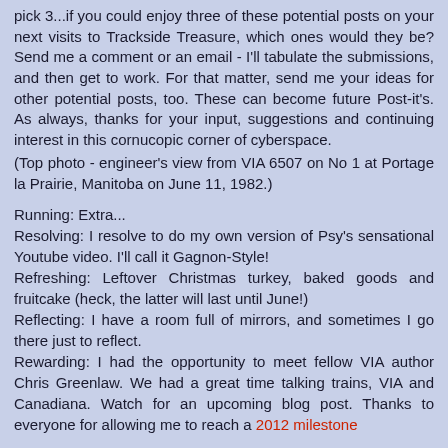pick 3...if you could enjoy three of these potential posts on your next visits to Trackside Treasure, which ones would they be?  Send me a comment or an email - I'll tabulate the submissions, and then get to work.  For that matter, send me your ideas for other potential posts, too.  These can become future Post-it's.    As always, thanks for your input, suggestions and continuing interest in this cornucopic corner of cyberspace.
(Top photo - engineer's view from VIA 6507 on No 1 at Portage la Prairie, Manitoba on June 11, 1982.)
Running:  Extra...
Resolving:  I resolve to do my own version of Psy's sensational Youtube video.  I'll call it Gagnon-Style!
Refreshing:  Leftover Christmas turkey, baked goods and fruitcake (heck, the latter will last until June!)
Reflecting:  I have a room full of mirrors, and sometimes I go there just to reflect.
Rewarding:  I had the opportunity to meet fellow VIA author Chris Greenlaw.  We had a great time talking trains, VIA and Canadiana.  Watch for an upcoming blog post.  Thanks to everyone for allowing me to reach a 2012 milestone